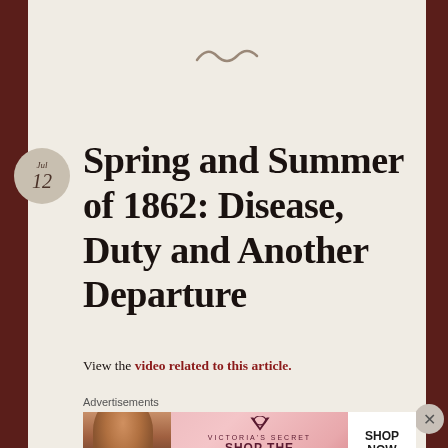[Figure (illustration): Decorative tilde/swirl symbol centered near top of page]
Spring and Summer of 1862: Disease, Duty and Another Departure
View the video related to this article.
Advertisements
[Figure (photo): Victoria's Secret advertisement banner with model, VS logo, 'SHOP THE COLLECTION' text, and 'SHOP NOW' button]